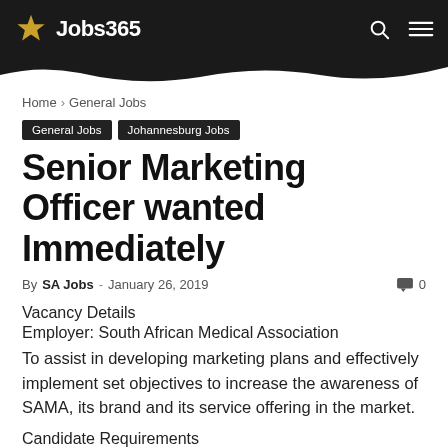Jobs365
Home › General Jobs
General Jobs   Johannesburg Jobs
Senior Marketing Officer wanted Immediately
By SA Jobs - January 26, 2019   0
Vacancy Details
Employer: South African Medical Association
To assist in developing marketing plans and effectively implement set objectives to increase the awareness of SAMA, its brand and its service offering in the market.
Candidate Requirements